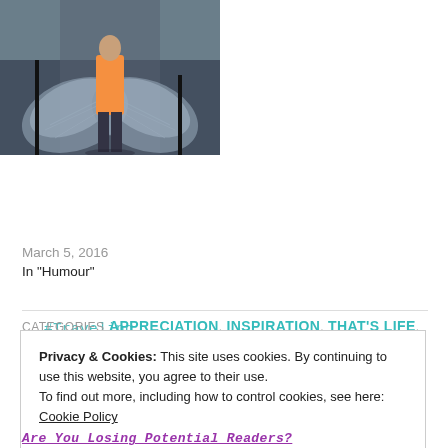[Figure (photo): Person in an orange outfit standing in front of a painted angel wings backdrop on a stage/exhibit area.]
#Traveling with #Angels – I'm Back!
March 5, 2016
In "Humour"
CATEGORIES  APPRECIATION, INSPIRATION, THAT'S LIFE, THOUGHTS
TAGS  ARIZONA DESERT VACATION, D.G.KAYE, RED ROCK MOUNTAINS, SCOTTSDALE ARIZONA, SEDONA,
Privacy & Cookies: This site uses cookies. By continuing to use this website, you agree to their use.
To find out more, including how to control cookies, see here: Cookie Policy
Close and accept
Are You Losing Potential Readers?